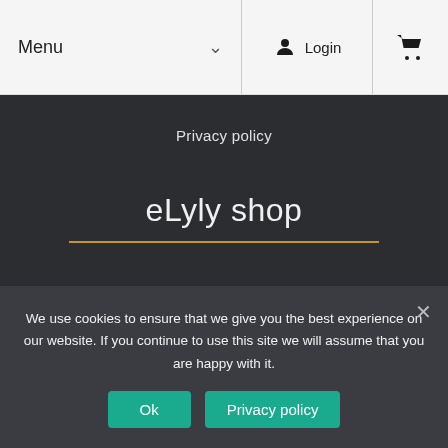Menu  Login
Privacy policy
eLyly shop
Shop
Cart
We use cookies to ensure that we give you the best experience on our website. If you continue to use this site we will assume that you are happy with it.
Ok
Privacy policy